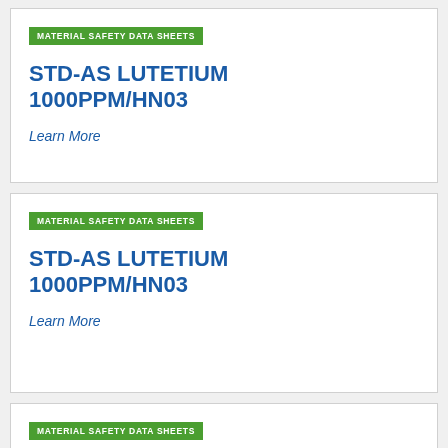MATERIAL SAFETY DATA SHEETS
STD-AS LUTETIUM 1000PPM/HN03
Learn More
MATERIAL SAFETY DATA SHEETS
STD-AS LUTETIUM 1000PPM/HN03
Learn More
MATERIAL SAFETY DATA SHEETS
STD-AS LUTETIUM